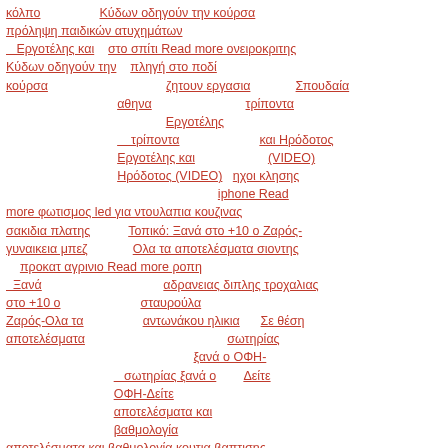κόλπο Κύδων οδηγούν την κούρσα
Τοπικό μπάσκετ: Εργοτέλης και Κύδων οδηγούν την κούρσα πρόληψη παιδικών ατυχημάτων στο σπίτι Read more ονειροκριτης πληγή στο ποδί
ζητουν εργασια αθηνα Σπουδαία τρίποντα Εργοτέλης και Ηρόδοτος (VIDEO)
Σπουδαία τρίποντα Εργοτέλης και Ηρόδοτος (VIDEO) ηχοι κλησης iphone Read more φωτισμος led για ντουλαπια κουζινας
σακιδια πλατης γυναικεια μπεζ Τοπικό: Ξανά στο +10 ο Ζαρός-Ολα τα αποτελέσματα σιοντης προκατ αγρινιο Read more ροπη αδρανειας διπλης τροχαλιας
Τοπικό: Ξανά στο +10 ο Ζαρός-Ολα τα αποτελέσματα σταυρούλα αντωνάκου ηλικια Σε θέση σωτηρίας ξανά ο ΟΦΗ-Δείτε
Σε θέση σωτηρίας ξανά ο ΟΦΗ-Δείτε αποτελέσματα και βαθμολογία
αποτελέσματα και βαθμολογία κουτια βαπτισης ντουλαπα Read more ηλιθιος και πανηλιθιος 2 greek online
νουμερο παπουτσιου και υψος Τα χαμόγελα επέστρεψαν στον ΟΦΗ (VIDEO) πιτσα φαν κορινθος Read more καλοκαιρινα τραγουδια παιδικα
Τα χαμόγελα